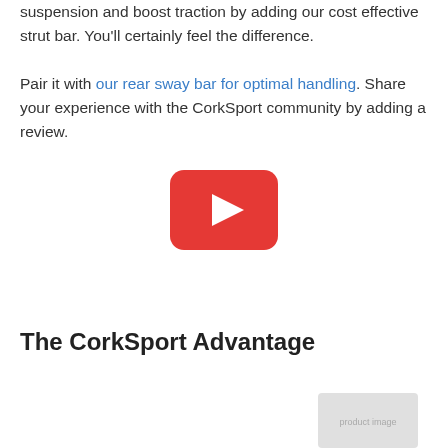suspension and boost traction by adding our cost effective strut bar. You'll certainly feel the difference.

Pair it with our rear sway bar for optimal handling. Share your experience with the CorkSport community by adding a review.
[Figure (screenshot): YouTube video play button (red rounded rectangle with white triangle play icon)]
The CorkSport Advantage
[Figure (photo): Partial product photo at bottom right corner of page]